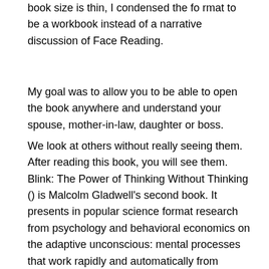book size is thin, I condensed the fo rmat to be a workbook instead of a narrative discussion of Face Reading.
My goal was to allow you to be able to open the book anywhere and understand your spouse, mother-in-law, daughter or boss.
We look at others without really seeing them. After reading this book, you will see them. Blink: The Power of Thinking Without Thinking () is Malcolm Gladwell's second book. It presents in popular science format research from psychology and behavioral economics on the adaptive unconscious: mental processes that work rapidly and automatically from relatively little considers both the strengths of the adaptive unconscious, for example in expert judgment, and its Author: Malcolm Gladwell.
CHINESE FACE READING Mien Shiang Physiognomy. His dress told her nothing, but his face told her things which she was glad to know." A. Milne, Once upon a Time. Power - Drive - Leadership. Will Power & Tenancity. Conviction. Relationships. Suspended Needles/Sword/ Size: 3MB. Some leveled books are also supported by fluency